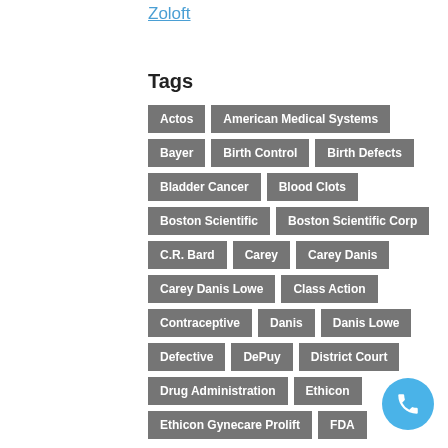Zoloft
Tags
Actos
American Medical Systems
Bayer
Birth Control
Birth Defects
Bladder Cancer
Blood Clots
Boston Scientific
Boston Scientific Corp
C.R. Bard
Carey
Carey Danis
Carey Danis Lowe
Class Action
Contraceptive
Danis
Danis Lowe
Defective
DePuy
District Court
Drug Administration
Ethicon
Ethicon Gynecare Prolift
FDA
[Figure (other): Blue circular phone button]